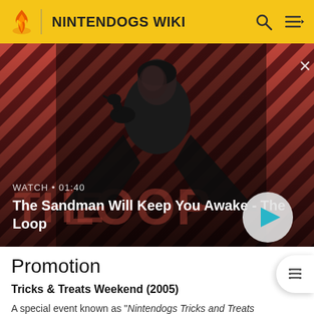NINTENDOGS WIKI
[Figure (screenshot): Video thumbnail showing a dark-cloaked figure with a raven on shoulder against a diagonal red and dark striped background. Overlay text: WATCH • 01:40. Title: The Sandman Will Keep You Awake - The Loop. Play button visible.]
Promotion
Tricks & Treats Weekend (2005)
A special event known as "Nintendogs Tricks and Treats